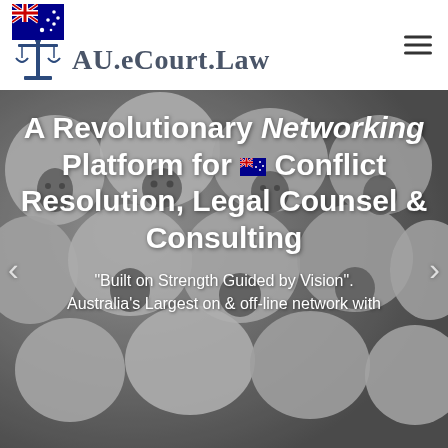[Figure (logo): Small Australian flag in top-left corner of header]
[Figure (logo): Scales of justice icon with AU.eCourt.Law text logo]
[Figure (photo): Background photo of a large flock of Merino sheep crowded together, grey/white tones]
A Revolutionary Networking Platform for 🇦🇺 Conflict Resolution, Legal Counsel & Consulting
"Built on Strength Guided by Vision". Australia's Largest on & off-line network with